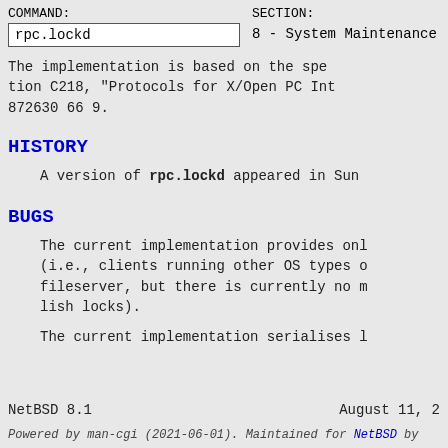COMMAND: rpc.lockd  SECTION: 8 - System Maintenance Commands
The implementation is based on the specification C218, "Protocols for X/Open PC Interworking", ISBN 1 872630 66 9.
HISTORY
A version of rpc.lockd appeared in SunOS.
BUGS
The current implementation provides only limited support for POSIX.1 semantics (i.e., clients running other OS types can connect to a NetBSD fileserver, but there is currently no mechanism to establish locks).
The current implementation serialises l
NetBSD 8.1                                                        August 11, 2
Powered by man-cgi (2021-06-01). Maintained for NetBSD by